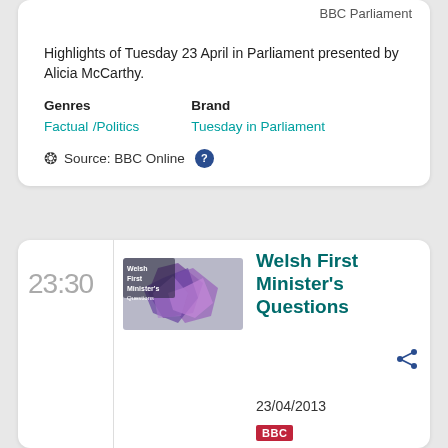BBC Parliament
Highlights of Tuesday 23 April in Parliament presented by Alicia McCarthy.
Genres
Factual / Politics
Brand
Tuesday in Parliament
Source: BBC Online ?
23:30
[Figure (photo): Welsh First Minister's Questions programme thumbnail showing purple crystals]
Welsh First Minister's Questions
23/04/2013
BBC